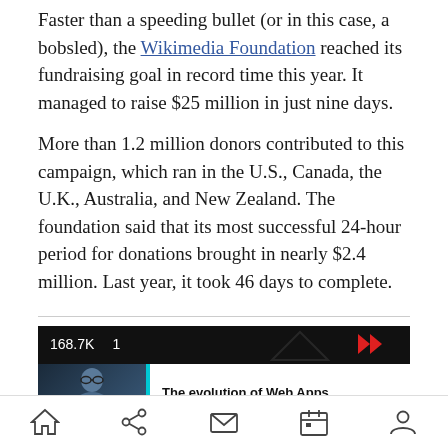Faster than a speeding bullet (or in this case, a bobsled), the Wikimedia Foundation reached its fundraising goal in record time this year. It managed to raise $25 million in just nine days.
More than 1.2 million donors contributed to this campaign, which ran in the U.S., Canada, the U.K., Australia, and New Zealand. The foundation said that its most successful 24-hour period for donations brought in nearly $2.4 million. Last year, it took 46 days to complete.
[Figure (screenshot): Video thumbnail showing '168.7K' views and '1' count, with a double chevron arrow icon, a person's face thumbnail, a cyan/teal vertical bar, and the title 'The evolution of Web Apps' on white background.]
Home | Share | Mail | Calendar | Profile icons navigation bar